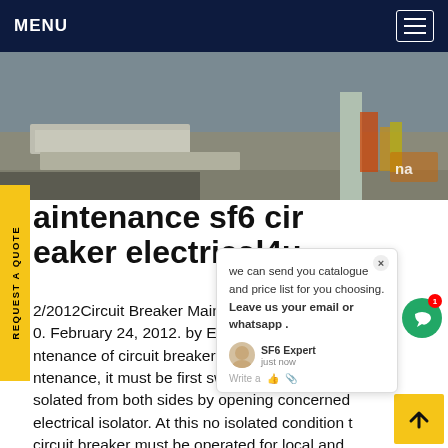MENU
[Figure (photo): Outdoor photo showing concrete slabs, gravel track area, industrial construction site with machinery in background]
REQUEST A QUOTE
aintenance sf6 cir breaker electrical4u
2/2012Circuit Breaker Maintenance 25, 0. February 24, 2012. by Electrical4U. For intenance of circuit breaker or circuit breaker intenance, it must be first switched off and then isolated from both sides by opening concerned electrical isolator. At this no isolated condition the circuit breaker must be operated for local and remoteGet price